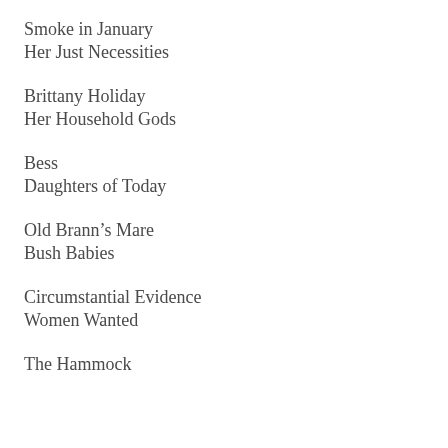Smoke in January
Her Just Necessities
Brittany Holiday
Her Household Gods
Bess
Daughters of Today
Old Brann's Mare
Bush Babies
Circumstantial Evidence
Women Wanted
The Hammock